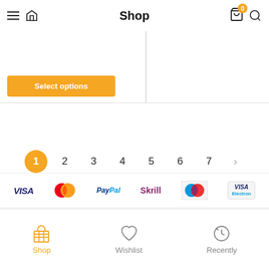Shop
[Figure (screenshot): Select options orange button on product card]
1
2
3
4
5
6
7
[Figure (logo): Payment method logos: VISA, MasterCard, PayPal, Skrill, Maestro, VISA Electron]
Shop  Wishlist  Recently